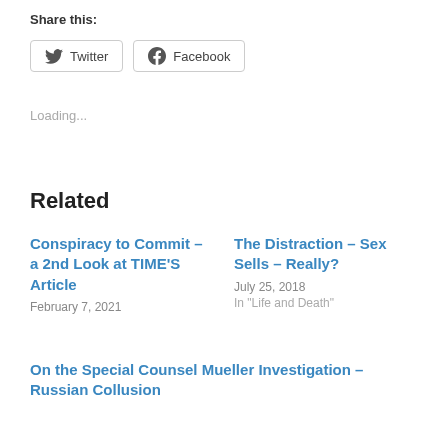Share this:
Twitter   Facebook
Loading...
Related
Conspiracy to Commit – a 2nd Look at TIME'S Article
February 7, 2021
The Distraction – Sex Sells – Really?
July 25, 2018
In "Life and Death"
On the Special Counsel Mueller Investigation – Russian Collusion